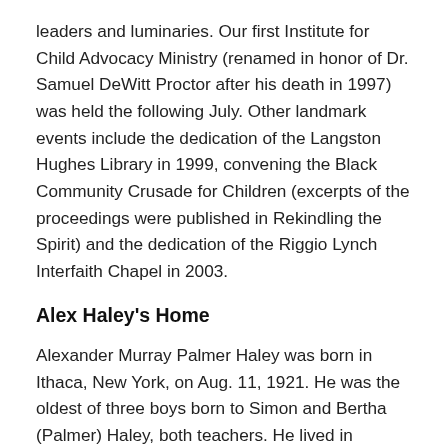leaders and luminaries. Our first Institute for Child Advocacy Ministry (renamed in honor of Dr. Samuel DeWitt Proctor after his death in 1997) was held the following July. Other landmark events include the dedication of the Langston Hughes Library in 1999, convening the Black Community Crusade for Children (excerpts of the proceedings were published in Rekindling the Spirit) and the dedication of the Riggio Lynch Interfaith Chapel in 2003.
Alex Haley's Home
Alexander Murray Palmer Haley was born in Ithaca, New York, on Aug. 11, 1921. He was the oldest of three boys born to Simon and Bertha (Palmer) Haley, both teachers. He lived in Henning, Tennessee as a child, and later served on the Coast Guard for 20 years,